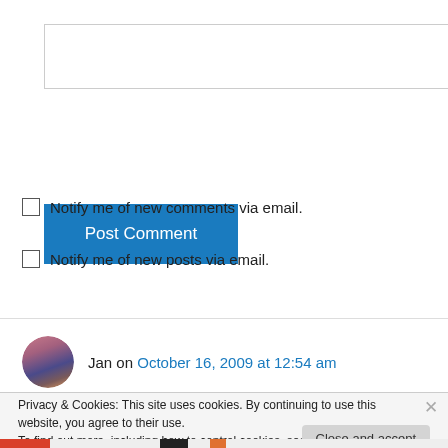[Figure (other): Empty textarea input box]
Post Comment
Notify me of new comments via email.
Notify me of new posts via email.
Jan on October 16, 2009 at 12:54 am
Privacy & Cookies: This site uses cookies. By continuing to use this website, you agree to their use.
To find out more, including how to control cookies, see here: Cookie Policy
Close and accept